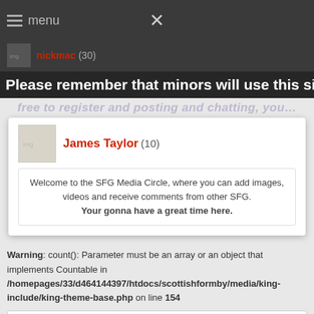menu  X
nickmac (30)
Please remember that minors will use this site
James Taylor (10)
Welcome to the SFG Media Circle, where you can add images, videos and receive comments from other SFG.
Your gonna have a great time here.
Warning: count(): Parameter must be an array or an object that implements Countable in /homepages/33/d464144397/htdocs/scottishformby/media/king-include/king-theme-base.php on line 154
ALL CATEGORIES
2016 Meetings
2015 Meetings